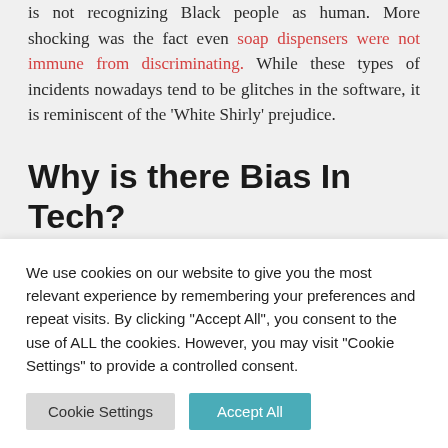is not recognizing Black people as human. More shocking was the fact even soap dispensers were not immune from discriminating. While these types of incidents nowadays tend to be glitches in the software, it is reminiscent of the 'White Shirly' prejudice.
Why is there Bias In Tech?
So why do these things happen? It has a lot to do with data fed to form the algorithms that run these
We use cookies on our website to give you the most relevant experience by remembering your preferences and repeat visits. By clicking "Accept All", you consent to the use of ALL the cookies. However, you may visit "Cookie Settings" to provide a controlled consent.